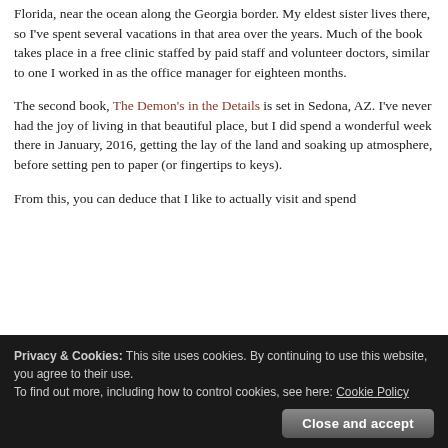The first book, The Demon Always Wins, is set in northern Florida, near the ocean along the Georgia border. My eldest sister lives there, so I've spent several vacations in that area over the years. Much of the book takes place in a free clinic staffed by paid staff and volunteer doctors, similar to one I worked in as the office manager for eighteen months.
The second book, The Demon's in the Details is set in Sedona, AZ. I've never had the joy of living in that beautiful place, but I did spend a wonderful week there in January, 2016, getting the lay of the land and soaking up atmosphere, before setting pen to paper (or fingertips to keys).
From this, you can deduce that I like to actually visit and spend
Privacy & Cookies: This site uses cookies. By continuing to use this website, you agree to their use.
To find out more, including how to control cookies, see here: Cookie Policy